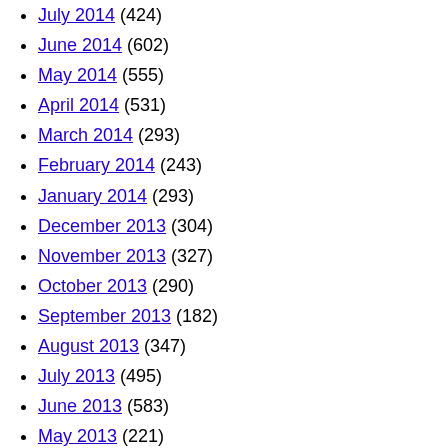July 2014 (424)
June 2014 (602)
May 2014 (555)
April 2014 (531)
March 2014 (293)
February 2014 (243)
January 2014 (293)
December 2013 (304)
November 2013 (327)
October 2013 (290)
September 2013 (182)
August 2013 (347)
July 2013 (495)
June 2013 (583)
May 2013 (221)
April 2013 (228)
March 2013 (88)
February 2013 (302)
January 2013 (62)
Meta
Log in
Entries feed
Comments feed